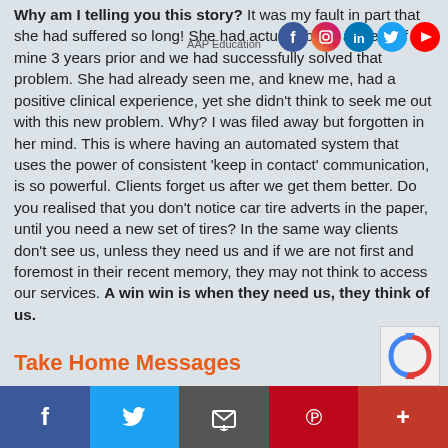AAP Education
Why am I telling you this story? It was my fault in part that she had suffered so long! She had actually been a client of mine 3 years prior and we had successfully solved that problem. She had already seen me, and knew me, had a positive clinical experience, yet she didn't think to seek me out with this new problem. Why? I was filed away but forgotten in her mind. This is where having an automated system that uses the power of consistent 'keep in contact' communication, is so powerful. Clients forget us after we get them better. Do you realised that you don't notice car tire adverts in the paper, until you need a new set of tires? In the same way clients don't see us, unless they need us and if we are not first and foremost in their recent memory, they may not think to access our services. A win win is when they need us, they think of us.
Take Home Messages
Social share bar: Facebook, Twitter, Email, Pinterest, More